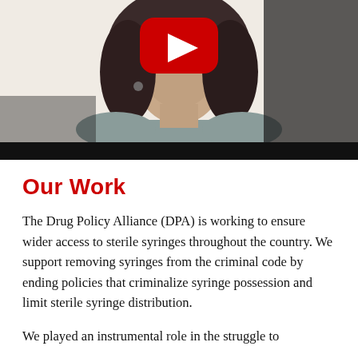[Figure (photo): Video thumbnail showing a woman with dark hair wearing a grey top, with a YouTube play button overlay. A black bar appears at the bottom of the thumbnail.]
Our Work
The Drug Policy Alliance (DPA) is working to ensure wider access to sterile syringes throughout the country. We support removing syringes from the criminal code by ending policies that criminalize syringe possession and limit sterile syringe distribution.
We played an instrumental role in the struggle to